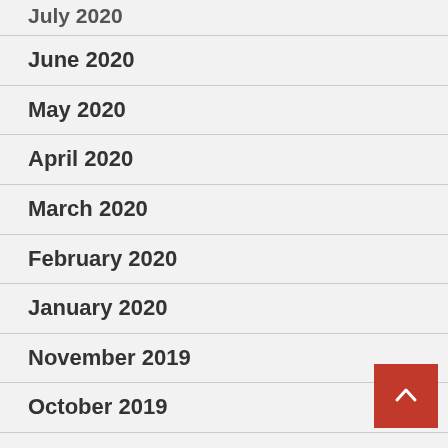July 2020
June 2020
May 2020
April 2020
March 2020
February 2020
January 2020
November 2019
October 2019
September 2019
August 2019
July 2019